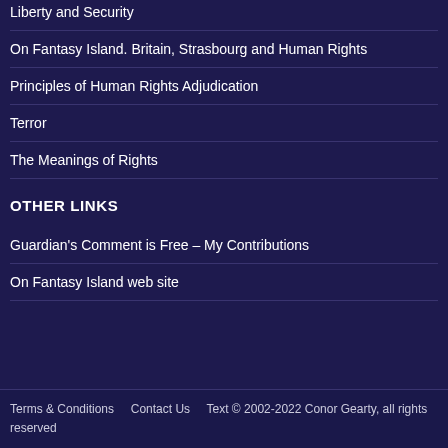Liberty and Security
On Fantasy Island. Britain, Strasbourg and Human Rights
Principles of Human Rights Adjudication
Terror
The Meanings of Rights
OTHER LINKS
Guardian's Comment is Free – My Contributions
On Fantasy Island web site
Terms & Conditions   Contact Us   Text © 2002-2022 Conor Gearty, all rights reserved